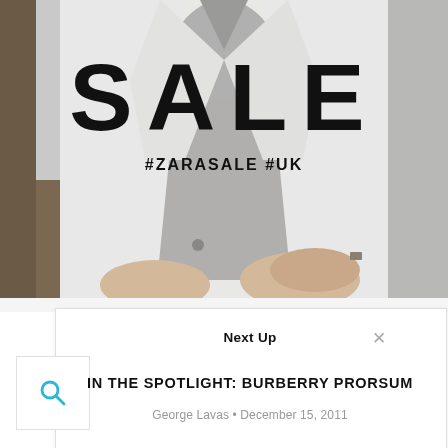[Figure (photo): Fashion photo of a man in a white blazer and grey shirt sitting, with large 'SALE' text and '#ZARASALE #UK' hashtags overlaid on the image]
Next Up
IN THE SPOTLIGHT: BURBERRY PRORSUM
George Lavas • December 15, 2011